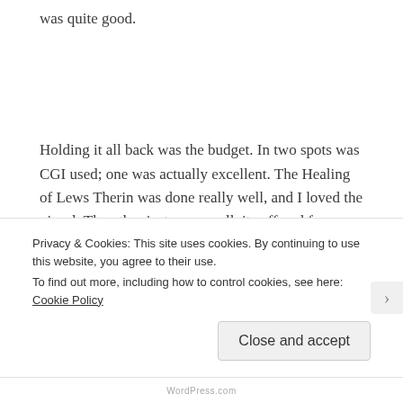was quite good.
Holding it all back was the budget. In two spots was CGI used; one was actually excellent. The Healing of Lews Therin was done really well, and I loved the visual. The other instance...well, it suffered from a lack of budget. LTT becoming the Kinslayer was, in theory, executed well. The flashback strikes
Privacy & Cookies: This site uses cookies. By continuing to use this website, you agree to their use.
To find out more, including how to control cookies, see here: Cookie Policy
Close and accept